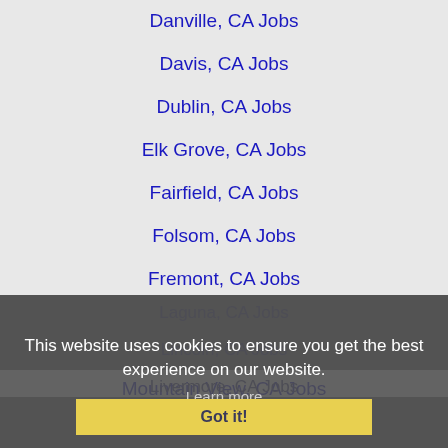Danville, CA Jobs
Davis, CA Jobs
Dublin, CA Jobs
Elk Grove, CA Jobs
Fairfield, CA Jobs
Folsom, CA Jobs
Fremont, CA Jobs
Gilroy, CA Jobs
Hayward, CA Jobs
Laguna, CA Jobs
Lincoln, CA Jobs
Livermore, CA Jobs
Lodi, CA Jobs
Manteca, CA Jobs
Milpitas, CA Jobs
Modesto, CA Jobs
Mountain View, CA Jobs
Napa, CA Jobs
This website uses cookies to ensure you get the best experience on our website.
Learn more
Got it!